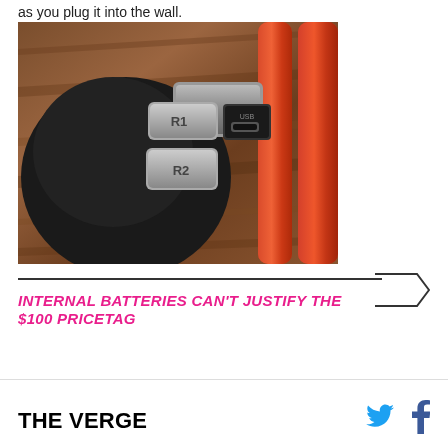as you plug it into the wall.
[Figure (photo): Close-up photograph of a gaming mouse showing R1 and R2 buttons on the left side and a micro-USB charging port, with a red/orange cable visible at the right, all resting on a wooden surface.]
INTERNAL BATTERIES CAN'T JUSTIFY THE $100 PRICETAG
THE VERGE